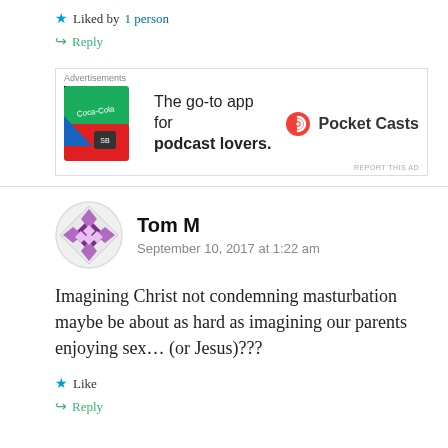★ Liked by 1 person
↪ Reply
[Figure (infographic): Pocket Casts advertisement: colorful app icon with Coca-Cola branding, tagline 'The go-to app for podcast lovers.' with Pocket Casts logo]
REPORT THIS AD
Tom M
September 10, 2017 at 1:22 am
Imagining Christ not condemning masturbation maybe be about as hard as imagining our parents enjoying sex… (or Jesus)???
★ Like
↪ Reply